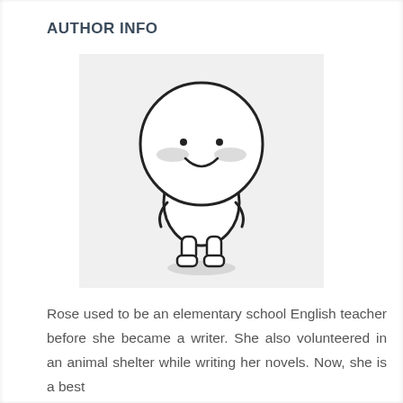AUTHOR INFO
[Figure (illustration): Cartoon character: a simple round-headed white figure with a smiley face, rosy cheeks, small body with short arms and legs, standing upright. Shadow beneath feet.]
Rose used to be an elementary school English teacher before she became a writer. She also volunteered in an animal shelter while writing her novels. Now, she is a best